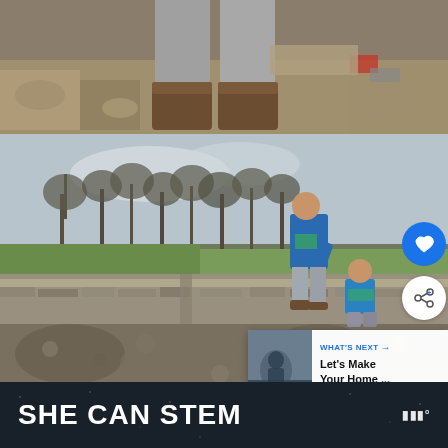[Figure (photo): Close-up photograph of a person's legs in grey trousers and brown boots standing on ancient stone ruins, with another child visible in the background]
[Figure (photo): Two children exploring ancient stone ruins outdoors; an older boy in a blue jacket bends over the low stone walls while a younger child crouches nearby. Trees and green fields visible in background. Social media UI overlays: heart/like button, share button, and a 'What's Next - Let's Make Your Home ...' card in the corner.]
SHE CAN STEM